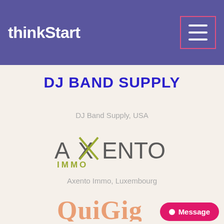IHOMI, USA
[Figure (logo): thinkStart logo in white text on purple header bar with hamburger menu button outlined in pink]
DJ BAND SUPPLY
DJ Band Supply, USA
[Figure (logo): Axento Immo logo with stylized X in olive/green color and IMMO below]
Axento Immo, Luxembourg
[Figure (logo): QuiGig logo partially visible at bottom, orange/coral color]
Message